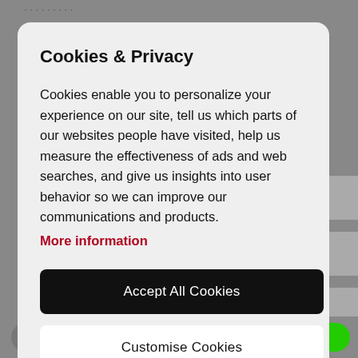Cookies & Privacy
Cookies enable you to personalize your experience on our site, tell us which parts of our websites people have visited, help us measure the effectiveness of ads and web searches, and give us insights into user behavior so we can improve our communications and products.
More information
Accept All Cookies
Customise Cookies
CONTACT   WHATSAPP